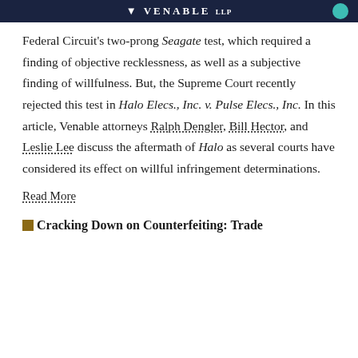VENABLE LLP
Federal Circuit's two-prong Seagate test, which required a finding of objective recklessness, as well as a subjective finding of willfulness. But, the Supreme Court recently rejected this test in Halo Elecs., Inc. v. Pulse Elecs., Inc. In this article, Venable attorneys Ralph Dengler, Bill Hector, and Leslie Lee discuss the aftermath of Halo as several courts have considered its effect on willful infringement determinations.
Read More
Cracking Down on Counterfeiting: Trade